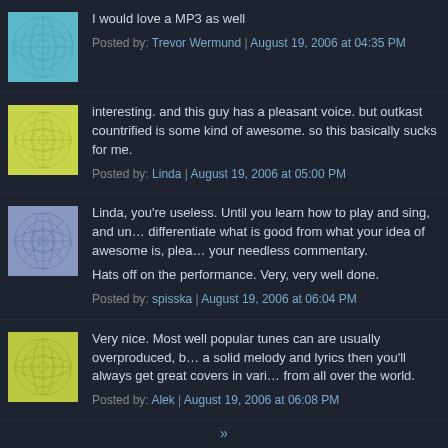I would love a MP3 as well
Posted by: Trevor Wermund | August 19, 2006 at 04:35 PM
interesting. and this guy has a pleasant voice. but outkast countrified is some kind of awesome. so this basically sucks for me.
Posted by: Linda | August 19, 2006 at 05:00 PM
Linda, you're useless. Until you learn how to play and sing, and until you can differentiate what is good from what your idea of awesome is, please spare us your needless commentary.

Hats off on the performance. Very, very well done.
Posted by: spisska | August 19, 2006 at 06:04 PM
Very nice. Most well popular tunes can are usually overproduced, but if it has a solid melody and lyrics then you'll always get great covers in various styles from all over the world.
Posted by: Alek | August 19, 2006 at 06:08 PM
»
The comments to this entry are closed.